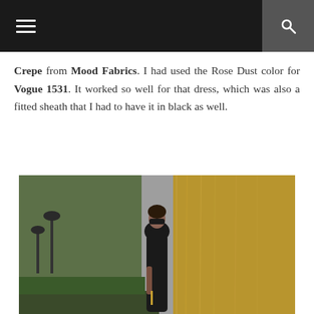[navigation bar with menu and search icons]
Crepe from Mood Fabrics. I had used the Rose Dust color for Vogue 1531. It worked so well for that dress, which was also a fitted sheath that I had to have it in black as well.
[Figure (photo): Woman in a black fitted sleeveless dress standing outdoors near a stone fountain with running water. She has short curly hair, wears large dark sunglasses and dangling earrings, with a park setting visible in the background.]